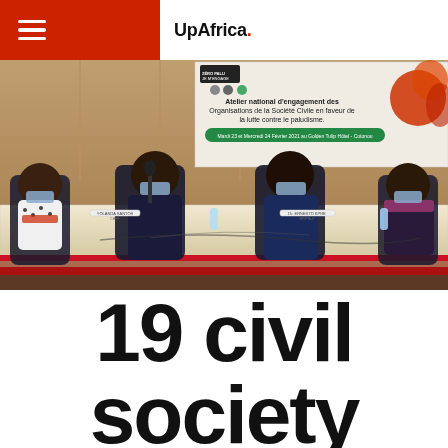UpAfrica.
[Figure (photo): Four people seated at a conference table wearing masks, with a banner behind them reading 'Zéro Palu Je m'engage' and 'Atelier national d'engagement des Organisations de la Société Civile en faveur de la lutte contre le paludisme. Mardi 23 et Mercredi 24 Février 2021 au Golden Tulip Hôtel - Cotonou']
19 civil society